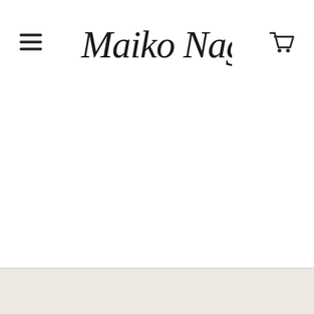Maiko Nagao — website header with hamburger menu and cart icon
[Figure (logo): Maiko Nagao handwritten script logo in black]
[Figure (other): Beige/cream bottom bar footer strip]